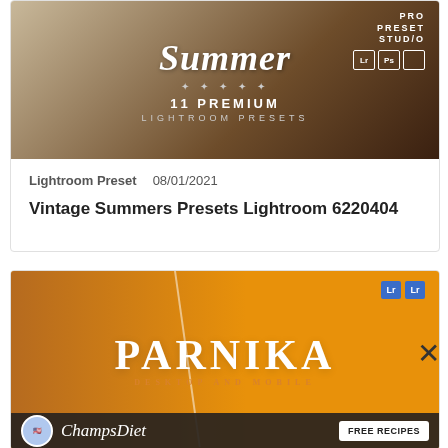[Figure (illustration): Summer Lightroom Presets banner: brown/tan background with food photo top-left, 'Summer' script title, '11 PREMIUM LIGHTROOM PRESETS', Pro Preset Studio logo with Lr/Ps icons top-right]
Lightroom Preset   08/01/2021
Vintage Summers Presets Lightroom 6220404
[Figure (illustration): Orange-background Parnika Lightroom preset banner featuring a woman's face, 'PARNIKA' in large serif, 'DESKTOP AND MOBILE' subtitle, Lr icons top-right, diagonal slash line overlay, ChampsDiet ad banner at bottom]